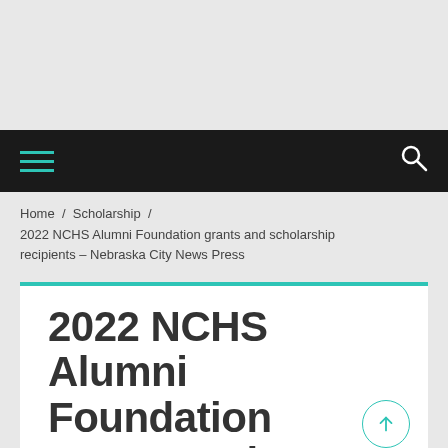Home / Scholarship / 2022 NCHS Alumni Foundation grants and scholarship recipients – Nebraska City News Press
2022 NCHS Alumni Foundation grants and